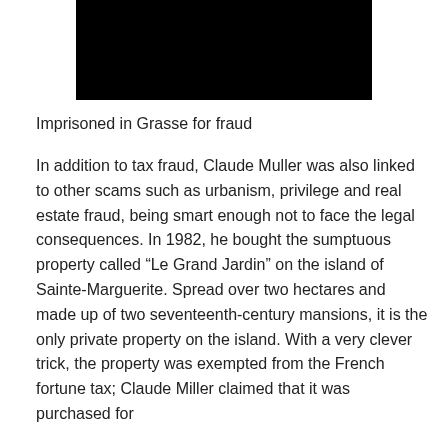[Figure (photo): Black rectangle representing a redacted or blacked-out image]
Imprisoned in Grasse for fraud
In addition to tax fraud, Claude Muller was also linked to other scams such as urbanism, privilege and real estate fraud, being smart enough not to face the legal consequences. In 1982, he bought the sumptuous property called “Le Grand Jardin” on the island of Sainte-Marguerite. Spread over two hectares and made up of two seventeenth-century mansions, it is the only private property on the island. With a very clever trick, the property was exempted from the French fortune tax; Claude Miller claimed that it was purchased for